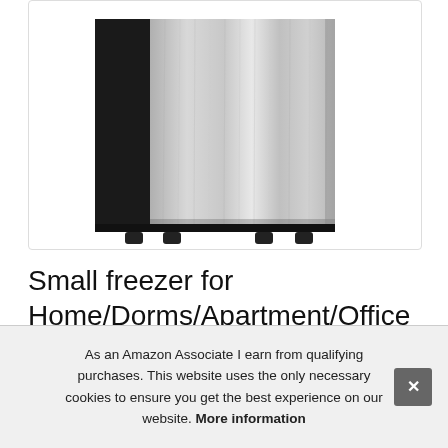[Figure (photo): Bottom portion of a stainless steel small freezer/refrigerator with black sides and black feet, shown against a white background inside a rounded-corner product image frame.]
Small freezer for Home/Dorms/Apartment/Office Silver, 3.0 Si Re
As an Amazon Associate I earn from qualifying purchases. This website uses the only necessary cookies to ensure you get the best experience on our website. More information